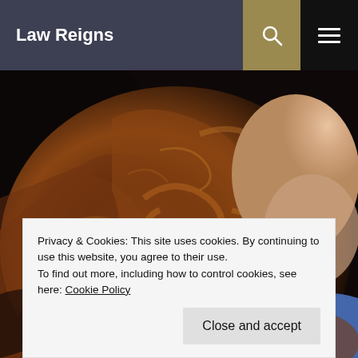Law Reigns
[Figure (photo): Close-up photo of a woman with long, voluminous auburn/brown curly hair, wearing a blue top, with red lipstick visible. Dark dramatic lighting.]
Privacy & Cookies: This site uses cookies. By continuing to use this website, you agree to their use.
To find out more, including how to control cookies, see here: Cookie Policy
Close and accept